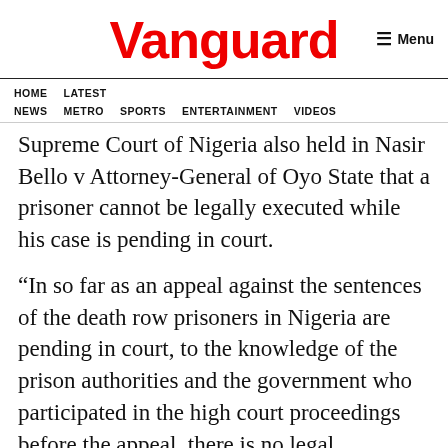Vanguard
HOME  LATEST NEWS  METRO  SPORTS  ENTERTAINMENT  VIDEOS
Supreme Court of Nigeria also held in Nasir Bello v Attorney-General of Oyo State that a prisoner cannot be legally executed while his case is pending in court.
“In so far as an appeal against the sentences of the death row prisoners in Nigeria are pending in court, to the knowledge of the prison authorities and the government who participated in the high court proceedings before the appeal, there is no legal justification for the Edo executions, more so when it was carried out cruelly on a day to the eve